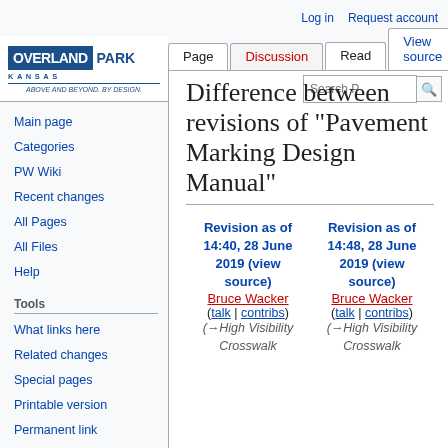Log in | Request account
[Figure (logo): Overland Park Kansas logo - Above and Beyond. By Design.]
Page | Discussion | Read | View source | View history | Search
Difference between revisions of "Pavement Marking Design Manual"
Main page
Categories
PW Wiki
Recent changes
All Pages
All Files
Help
Tools
What links here
Related changes
Special pages
Printable version
Permanent link
| Revision as of 14:40, 28 June 2019 (view source) | Revision as of 14:48, 28 June 2019 (view source) |
| --- | --- |
| Bruce Wacker (talk | contribs) | Bruce Wacker (talk | contribs) |
| (→High Visibility Crosswalk | (→High Visibility Crosswalk |